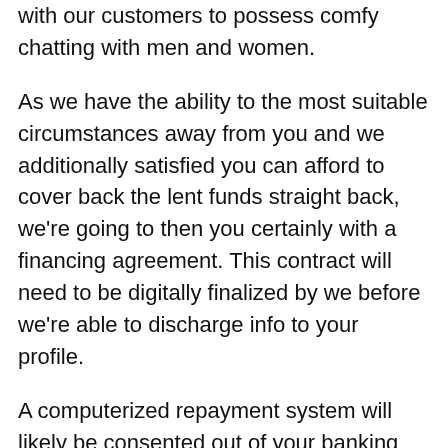with our customers to possess comfy chatting with men and women.
As we have the ability to the most suitable circumstances away from you and we additionally satisfied you can afford to cover back the lent funds straight back, we're going to then you certainly with a financing agreement. This contract will need to be digitally finalized by we before we're able to discharge info to your profile.
A computerized repayment system will likely be consented out of your banking account on scheduled repayment dates the moment the loan amount was settled in the banking account. You repeat this by using a continuing having to pay power . Often, these may end up being every month settlements, but you can anticipate our consumers along with the